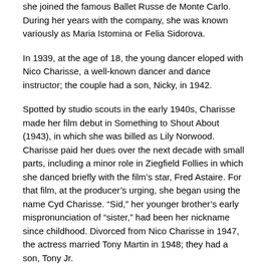she joined the famous Ballet Russe de Monte Carlo. During her years with the company, she was known variously as Maria Istomina or Felia Sidorova.
In 1939, at the age of 18, the young dancer eloped with Nico Charisse, a well-known dancer and dance instructor; the couple had a son, Nicky, in 1942.
Spotted by studio scouts in the early 1940s, Charisse made her film debut in Something to Shout About (1943), in which she was billed as Lily Norwood. Charisse paid her dues over the next decade with small parts, including a minor role in Ziegfield Follies in which she danced briefly with the film’s star, Fred Astaire. For that film, at the producer’s urging, she began using the name Cyd Charisse. “Sid,” her younger brother’s early mispronunciation of “sister,” had been her nickname since childhood. Divorced from Nico Charisse in 1947, the actress married Tony Martin in 1948; they had a son, Tony Jr.
Charisse’s big break came in 1952, with Singin’ in the Rain (1952), starring Gene Kelly, who also co-directed the film with Stanley Donen. Playing a gorgeous gold-digger, she was paired with Kelly in one of the film’s most memorable sequences.